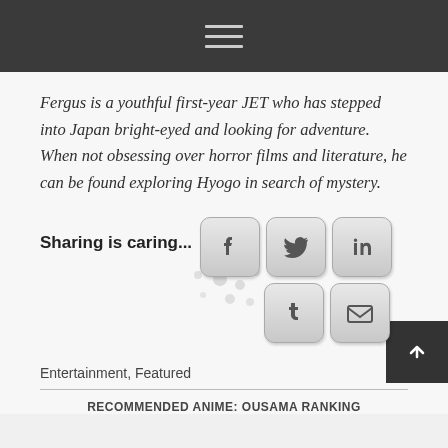Navigation menu icon (hamburger)
Fergus is a youthful first-year JET who has stepped into Japan bright-eyed and looking for adventure. When not obsessing over horror films and literature, he can be found exploring Hyogo in search of mystery.
[Figure (infographic): Sharing is caring... row of social media share buttons: Facebook, Twitter, LinkedIn (top row), Tumblr, Email (bottom row), with decorative dot pattern]
Entertainment, Featured
RECOMMENDED ANIME: OUSAMA RANKING